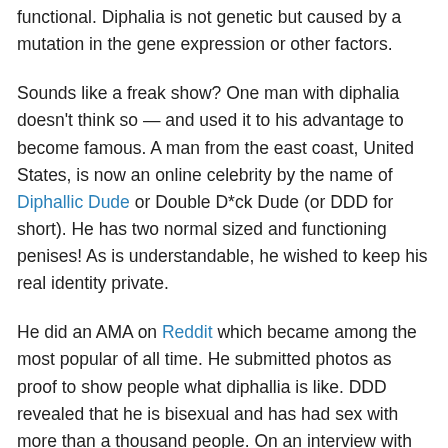functional. Diphalia is not genetic but caused by a mutation in the gene expression or other factors.
Sounds like a freak show? One man with diphalia doesn't think so — and used it to his advantage to become famous. A man from the east coast, United States, is now an online celebrity by the name of Diphallic Dude or Double D*ck Dude (or DDD for short). He has two normal sized and functioning penises! As is understandable, he wished to keep his real identity private.
He did an AMA on Reddit which became among the most popular of all time. He submitted photos as proof to show people what diphallia is like. DDD revealed that he is bisexual and has had sex with more than a thousand people. On an interview with BBC, he discussed about having diphalia while growing up. His parents told him to keep his condition private. He initially thought it was to keep the other kids from feeling bad that they only have